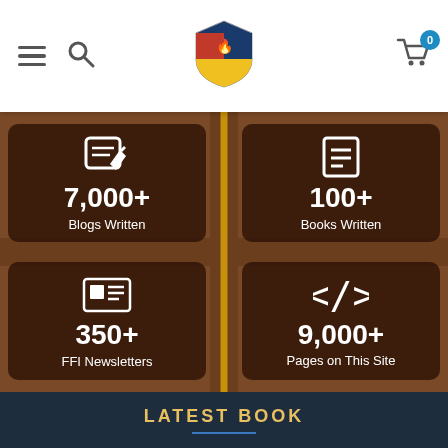[Figure (screenshot): Website navigation header with hamburger menu, search icon, shield logo, and shopping cart with badge showing 0]
[Figure (infographic): 2x2 grid of stat cards on brown textured background with road dividers showing: 7,000+ Blogs Written, 100+ Books Written, 350+ FFI Newsletters, 9,000+ Pages on This Site]
LATEST BOOK